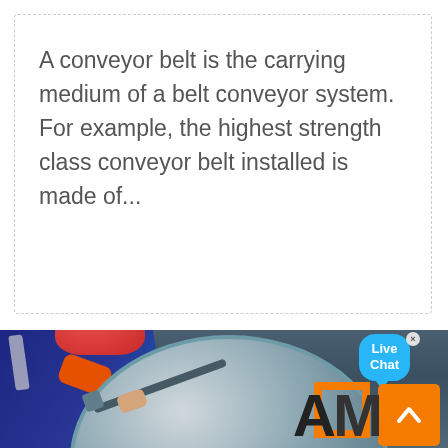A conveyor belt is the carrying medium of a belt conveyor system. For example, the highest strength class conveyor belt installed is made of...
[Figure (photo): A worker wearing a dark blue uniform with orange stripe and red hard hat, leaning over a large silver/metal drum or cylindrical vessel, using a long tool or rod. In the top right corner there is a 'Live Chat' speech bubble button and a close X. In the bottom right corner there is an orange back-to-top button with a chevron, and a partial logo showing the letters 'AM' with an orange square bracket frame.]